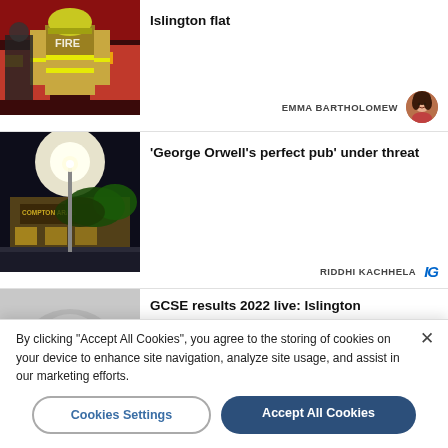[Figure (photo): Firefighter in high-visibility yellow jacket seen from behind, near fire trucks]
Islington flat
EMMA BARTHOLOMEW
[Figure (photo): Night-time exterior of Compton Arms pub with bright street light and foliage]
'George Orwell's perfect pub' under threat
RIDDHI KACHHELA
[Figure (photo): Partially visible image for GCSE results article]
GCSE results 2022 live: Islington
By clicking "Accept All Cookies", you agree to the storing of cookies on your device to enhance site navigation, analyze site usage, and assist in our marketing efforts.
Cookies Settings
Accept All Cookies